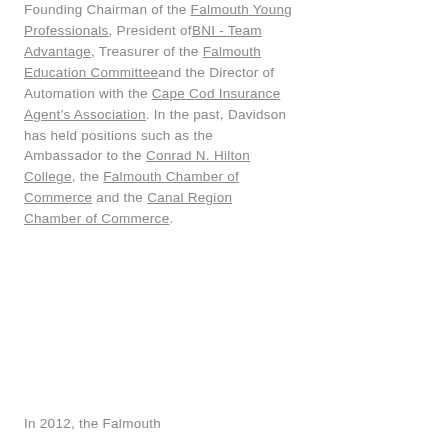Founding Chairman of the Falmouth Young Professionals, President ofBNI - Team Advantage, Treasurer of the Falmouth Education Committeeand the Director of Automation with the Cape Cod Insurance Agent's Association. In the past, Davidson has held positions such as the Ambassador to the Conrad N. Hilton College, the Falmouth Chamber of Commerce and the Canal Region Chamber of Commerce.
In 2012, the Falmouth